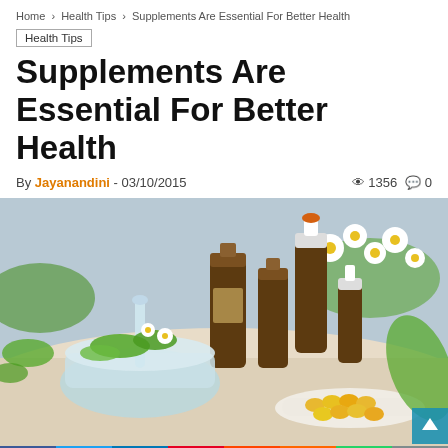Home › Health Tips › Supplements Are Essential For Better Health
Health Tips
Supplements Are Essential For Better Health
By Jayanandini - 03/10/2015  👁 1356  💬 0
[Figure (photo): Photo of herbal supplements: mortar and pestle with fresh herbs, brown glass dropper bottles, white ceramic spoon with golden gel capsules, and white daisy flowers on a light background.]
[Figure (infographic): Social media sharing bar with buttons for Facebook, Twitter, LinkedIn, Pinterest, Reddit, Mix, WhatsApp, and Share.]